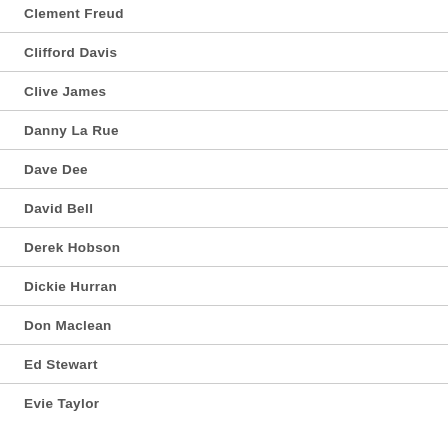Clement Freud
Clifford Davis
Clive James
Danny La Rue
Dave Dee
David Bell
Derek Hobson
Dickie Hurran
Don Maclean
Ed Stewart
Evie Taylor